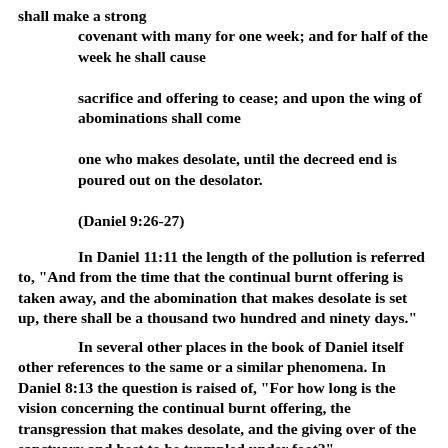shall make a strong covenant with many for one week; and for half of the week he shall cause sacrifice and offering to cease; and upon the wing of abominations shall come one who makes desolate, until the decreed end is poured out on the desolator. (Daniel 9:26-27)
In Daniel 11:11 the length of the pollution is referred to, "And from the time that the continual burnt offering is taken away, and the abomination that makes desolate is set up, there shall be a thousand two hundred and ninety days."
In several other places in the book of Daniel itself other references to the same or a similar phenomena. In Daniel 8:13 the question is raised of, "For how long is the vision concerning the continual burnt offering, the transgression that makes desolate, and the giving over of the sanctuary and host to be trampled under foot?"